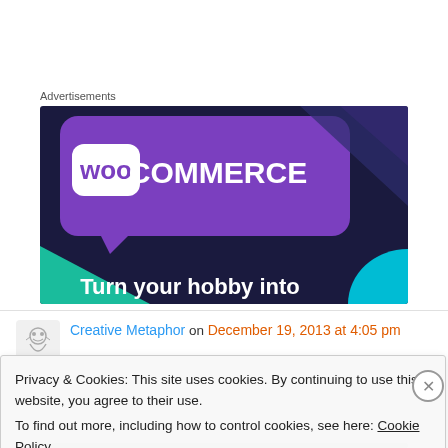Advertisements
[Figure (illustration): WooCommerce advertisement banner. Dark navy/purple background with a purple speech-bubble logo area showing 'WOO COMMERCE' in white text. Green and cyan triangle shapes at the bottom left and right. White bold text at the bottom reads 'Turn your hobby into']
Creative Metaphor on December 19, 2013 at 4:05 pm
Privacy & Cookies: This site uses cookies. By continuing to use this website, you agree to their use.
To find out more, including how to control cookies, see here: Cookie Policy
Close and accept